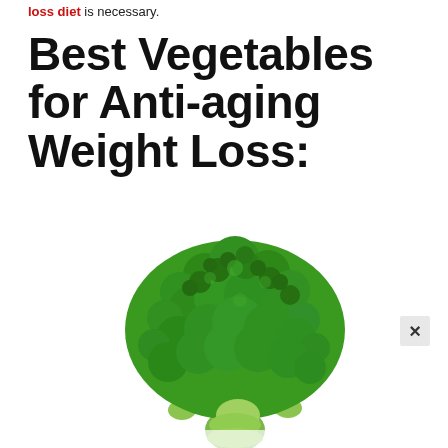loss diet is necessary.
Best Vegetables for Anti-aging Weight Loss:
[Figure (photo): A fresh broccoli head on a white background, showing dark green florets and light green stalk.]